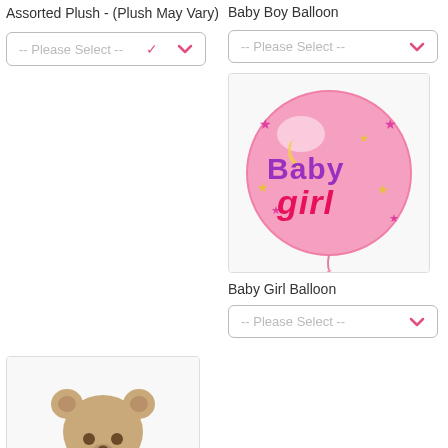Assorted Plush - (Plush May Vary)
-- Please Select --
Baby Boy Balloon
-- Please Select --
[Figure (illustration): Round pink Baby Girl balloon with stars and moon decorations and text 'Baby girl']
Baby Girl Balloon
-- Please Select --
[Figure (photo): Stuffed teddy bear, light brown/beige color, sitting position with bow tie]
18" Lotsa Love® Bear
-- Please Select --